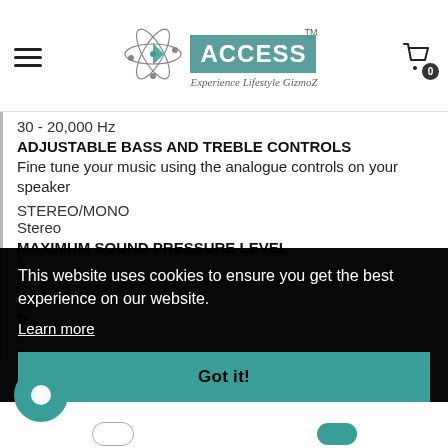[Figure (logo): ACCESS Experience Lifestyle GizmoZ logo with atom graphic and shopping cart icon showing 0 items]
30 - 20,000 Hz
ADJUSTABLE BASS AND TREBLE CONTROLS
Fine tune your music using the analogue controls on your speaker
STEREO/MONO
Stereo
MAXIMUM SOUND PRESSURE LEVEL
11
CA
Ba
P
Tu
Tu
This website uses cookies to ensure you get the best experience on our website.
Learn more
Got it!